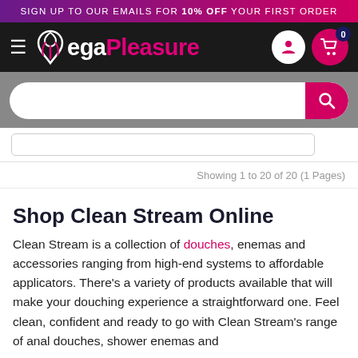SIGN UP TO OUR EMAILS FOR 10% OFF YOUR FIRST ORDER
[Figure (logo): MegaPleasure logo with hamburger menu, user icon, and shopping cart (0 items) on black navigation bar]
[Figure (screenshot): Search bar with pink search button on grey background, and a filter input below]
Showing 1 to 20 of 20 (1 Pages)
Shop Clean Stream Online
Clean Stream is a collection of douches, enemas and accessories ranging from high-end systems to affordable applicators. There's a variety of products available that will make your douching experience a straightforward one. Feel clean, confident and ready to go with Clean Stream's range of anal douches, shower enemas and